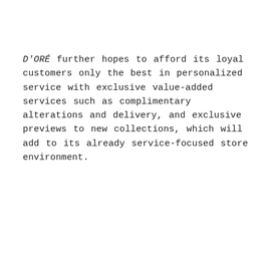D'ORÉ further hopes to afford its loyal customers only the best in personalized service with exclusive value-added services such as complimentary alterations and delivery, and exclusive previews to new collections, which will add to its already service-focused store environment.